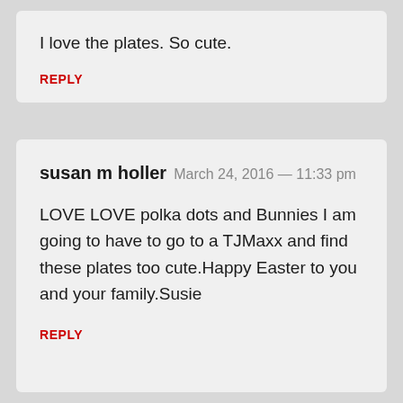I love the plates. So cute.
REPLY
susan m holler  March 24, 2016 — 11:33 pm
LOVE LOVE polka dots and Bunnies I am going to have to go to a TJMaxx and find these plates too cute.Happy Easter to you and your family.Susie
REPLY